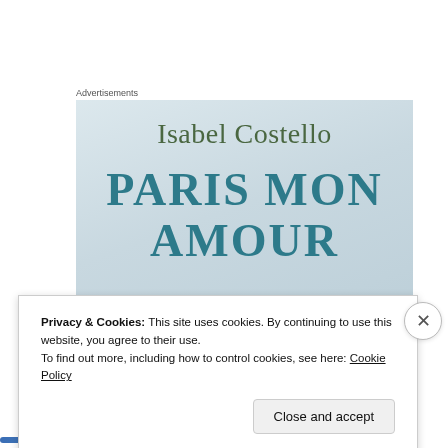Advertisements
[Figure (illustration): Book cover for 'Paris Mon Amour' by Isabel Costello. Light blue-grey background with author name in olive green serif font at top, large teal/dark cyan title text in bold serif font below, and broken white egg shells/pieces at the bottom.]
Privacy & Cookies: This site uses cookies. By continuing to use this website, you agree to their use.
To find out more, including how to control cookies, see here: Cookie Policy
Close and accept